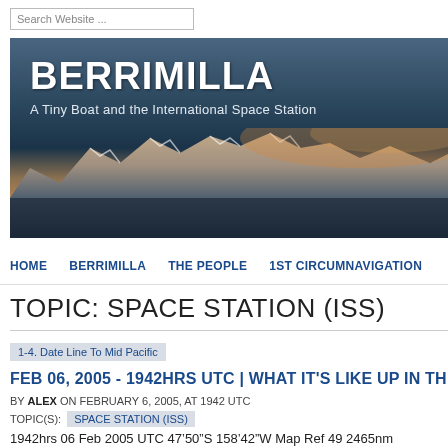[Figure (screenshot): Search website text input field]
[Figure (photo): Hero banner image showing BERRIMILLA blog header with snowy mountains at sunset over dark water. White bold text reads BERRIMILLA and subtitle A Tiny Boat and the International Space Station.]
HOME  BERRIMILLA  THE PEOPLE  1ST CIRCUMNAVIGATION
TOPIC: SPACE STATION (ISS)
1-4. Date Line To Mid Pacific
FEB 06, 2005 - 1942HRS UTC | WHAT IT'S LIKE UP IN TH
BY ALEX ON FEBRUARY 6, 2005, AT 1942 UTC
TOPIC(S): SPACE STATION (ISS)
1942hrs 06 Feb 2005 UTC 47’50”S 158’42”W Map Ref 49 2465nm